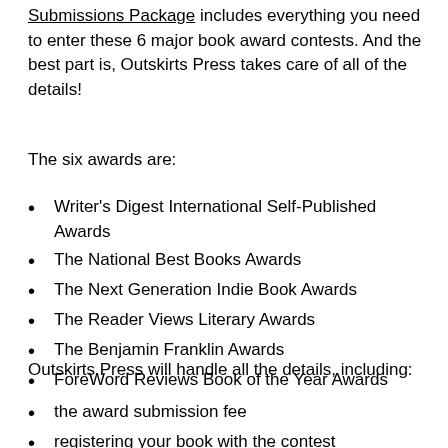Submissions Package includes everything you need to enter these 6 major book award contests. And the best part is, Outskirts Press takes care of all of the details!
The six awards are:
Writer's Digest International Self-Published Awards
The National Best Books Awards
The Next Generation Indie Book Awards
The Reader Views Literary Awards
The Benjamin Franklin Awards
ForeWord Reviews Book of the Year Awards
Outskirts Press will handle all the details, including:
the award submission fee
registering your book with the contest
sending each program the necessary review copies of your book